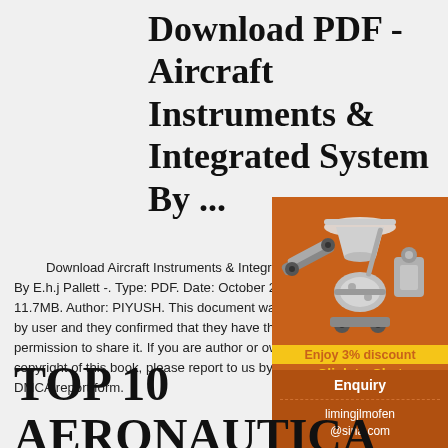Download PDF - Aircraft Instruments & Integrated System By ...
Download Aircraft Instruments & Integrated System By E.h.j Pallett -. Type: PDF. Date: October 20... 11.7MB. Author: PIYUSH. This document was... by user and they confirmed that they have the... permission to share it. If you are author or own... copyright of this book, please report to us by u... DMCA report form.
[Figure (illustration): Orange advertisement panel showing industrial mining/crushing machinery with 'Enjoy 3% discount' and 'Click to Chat' text, and a lower section with 'Enquiry' button and email limingjlmofen@sina.com]
TOP 10 AERONAUTICAL ENGINEERING &